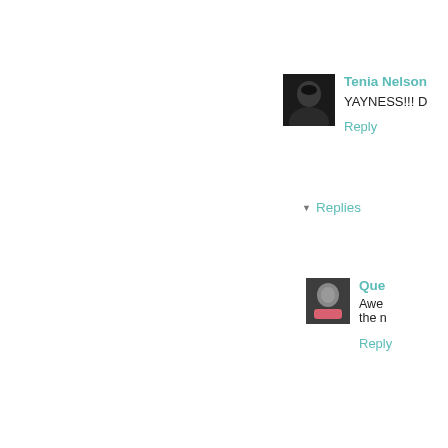[Figure (photo): Avatar photo of Tenia Nelson, black and white portrait]
Tenia Nelson
YAYNESS!!! D
Reply
Replies
[Figure (photo): Avatar photo of Que, woman with pink top]
Que
Awe the n
Reply
[Figure (photo): Avatar photo of ~amy~, black and white photo with sunglasses]
~amy~ 04 O
awesome po
Reply
Replies
[Figure (photo): Avatar photo of Que, woman with pink top]
Que